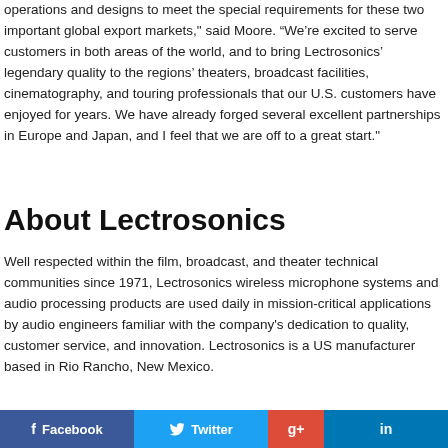operations and designs to meet the special requirements for these two important global export markets," said Moore. “We’re excited to serve customers in both areas of the world, and to bring Lectrosonics’ legendary quality to the regions’ theaters, broadcast facilities, cinematography, and touring professionals that our U.S. customers have enjoyed for years. We have already forged several excellent partnerships in Europe and Japan, and I feel that we are off to a great start."
About Lectrosonics
Well respected within the film, broadcast, and theater technical communities since 1971, Lectrosonics wireless microphone systems and audio processing products are used daily in mission-critical applications by audio engineers familiar with the company's dedication to quality, customer service, and innovation. Lectrosonics is a US manufacturer based in Rio Rancho, New Mexico.
[Figure (other): Social media share buttons: Facebook, Twitter, Google+, LinkedIn]